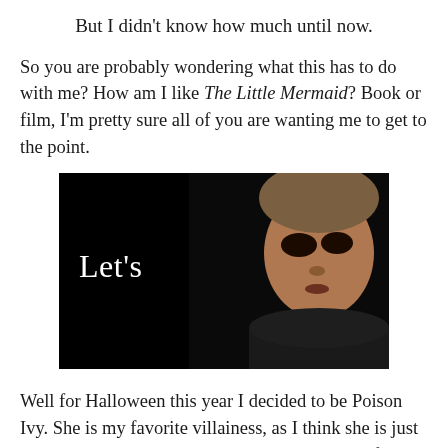But I didn't know how much until now.
So you are probably wondering what this has to do with me? How am I like The Little Mermaid? Book or film, I'm pretty sure all of you are wanting me to get to the point.
[Figure (photo): Dark image of a man's face with text 'Let's' overlaid on the left side against a black background]
Well for Halloween this year I decided to be Poison Ivy. She is my favorite villainess, as I think she is just amazing. I did a post on her that includes pics of the costume.
So...